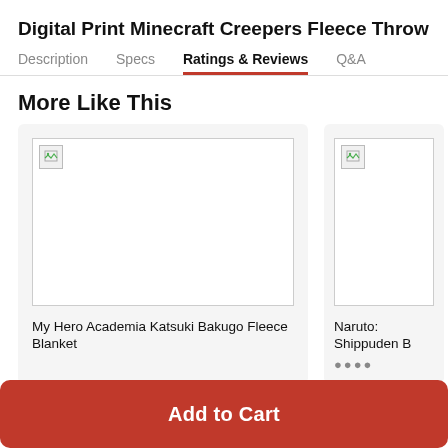Digital Print Minecraft Creepers Fleece Throw
Description | Specs | Ratings & Reviews | Q&A
More Like This
[Figure (photo): Product card for My Hero Academia Katsuki Bakugo Fleece Blanket with broken image placeholder]
My Hero Academia Katsuki Bakugo Fleece Blanket
[Figure (photo): Product card for Naruto: Shippuden, partially visible, with broken image placeholder and star rating]
Naruto: Shippuden B...
Add to Cart